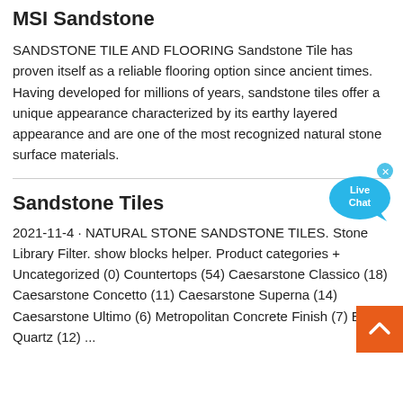MSI Sandstone
SANDSTONE TILE AND FLOORING Sandstone Tile has proven itself as a reliable flooring option since ancient times. Having developed for millions of years, sandstone tiles offer a unique appearance characterized by its earthy layered appearance and are one of the most recognized natural stone surface materials.
[Figure (illustration): Live Chat bubble widget with close button in top right corner]
Sandstone Tiles
2021-11-4 · NATURAL STONE SANDSTONE TILES. Stone Library Filter. show blocks helper. Product categories + Uncategorized (0) Countertops (54) Caesarstone Classico (18) Caesarstone Concetto (11) Caesarstone Superna (14) Caesarstone Ultimo (6) Metropolitan Concrete Finish (7) Ezei Quartz (12) ...
[Figure (illustration): Orange scroll-to-top button with upward chevron arrow]